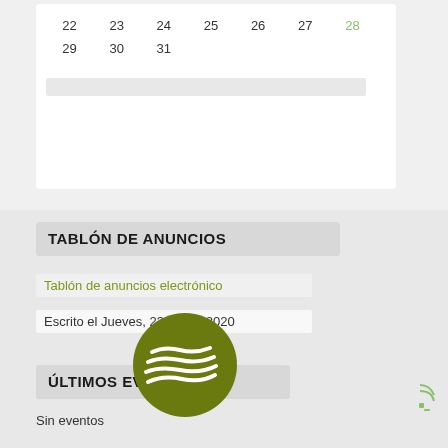| 22 | 23 | 24 | 25 | 26 | 27 | 28 |
| 29 | 30 | 31 |  |  |  |  |
TABLÓN DE ANUNCIOS
Tablón de anuncios electrónico
Escrito el Jueves, 23 Enero 2020
ÚLTIMOS EVENTOS
Sin eventos
[Figure (logo): Circular dark olive green logo with white layered wave/stripe design]